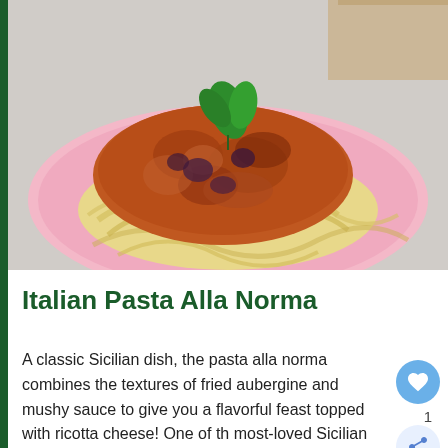[Figure (photo): A plate of Italian pasta alla norma — fettuccine noodles topped with a rich tomato and aubergine sauce, garnished with fresh basil leaves, served on a pink plate.]
Italian Pasta Alla Norma
A classic Sicilian dish, the pasta alla norma combines the textures of fried aubergine and mushy sauce to give you a flavorful feast topped with ricotta cheese! One of the most-loved Sicilian dishes, the pasta all